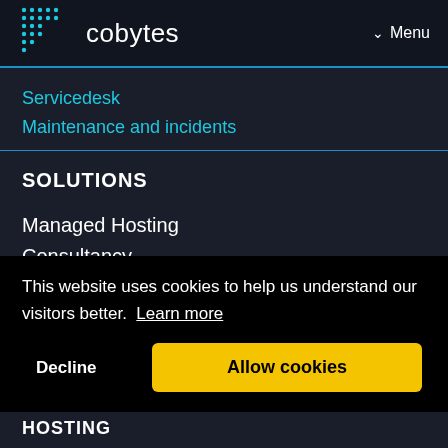[Figure (logo): Cobytes logo with dot grid pattern and text 'cobytes' in white, plus a Menu button with chevron in top right]
Servicedesk
Maintenance and incidents
SOLUTIONS
Managed Hosting
Consultancy
Cloud
Online Workspaces
This website uses cookies to help us understand our visitors better.  Learn more
DevOps
Hosting
HOSTING